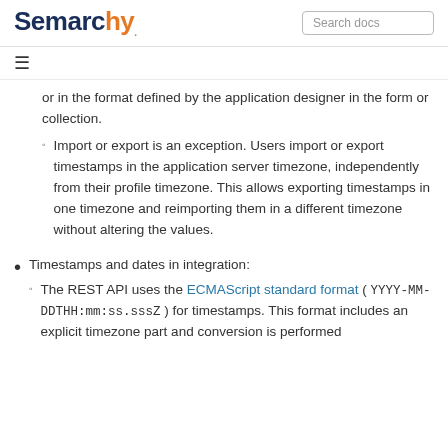Semarchy | Search docs
or in the format defined by the application designer in the form or collection.
Import or export is an exception. Users import or export timestamps in the application server timezone, independently from their profile timezone. This allows exporting timestamps in one timezone and reimporting them in a different timezone without altering the values.
Timestamps and dates in integration:
The REST API uses the ECMAScript standard format ( YYYY-MM-DDTHH:mm:ss.sssZ ) for timestamps. This format includes an explicit timezone part and conversion is performed